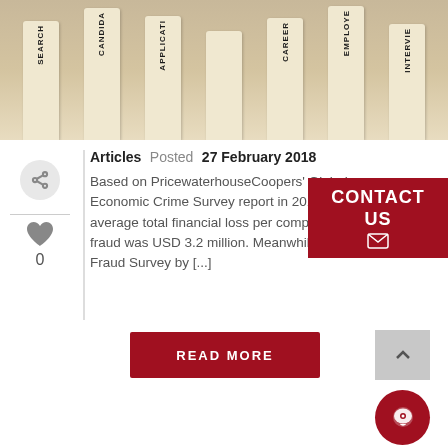[Figure (photo): Photo of wooden domino tiles standing upright with career-related words printed vertically: SEARCH, CANDIDA(TE), APPLICATI(ON), CAREER(S), EMPLOYE(R), INTERVIE(W)]
Articles Posted 27 February 2018
Based on PricewaterhouseCoopers' Global Economic Crime Survey report in 2016, the average total financial loss per company due to fraud was USD 3.2 million. Meanwhile, Global Fraud Survey by [...]
CONTACT US
READ MORE